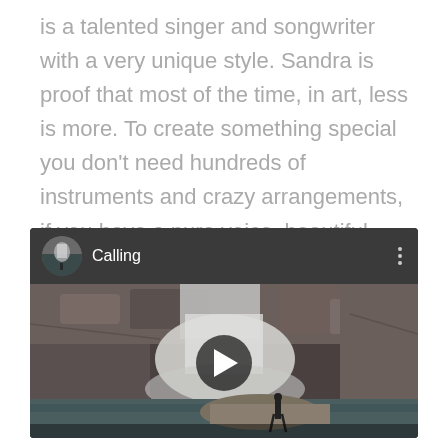is a talented singer and songwriter with a very unique style. Sandra is proof that most of the time, in art, less is more. To create something special you don't need hundreds of instruments and crazy arrangements, if you have a pure voice, beautiful lyrics and a big talent, that's all you need.
[Figure (screenshot): YouTube-style embedded video player with dark background showing a waterfall scene with a person standing near water. The video header shows a circular avatar thumbnail of the waterfall, the title 'Calling', and a three-dot menu icon. A play button overlay is centered on the thumbnail.]